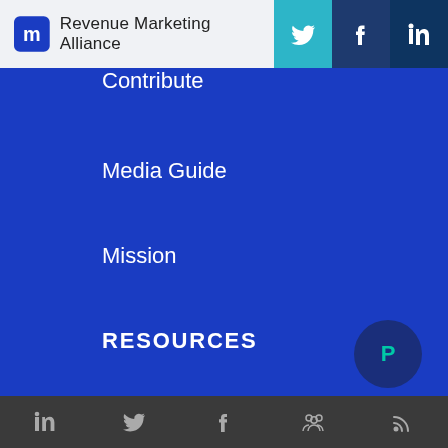Revenue Marketing Alliance
Contribute
Media Guide
Mission
RESOURCES
Articles
Newsletter
Podcasts
Social icons: LinkedIn, Twitter, Facebook, Community, RSS